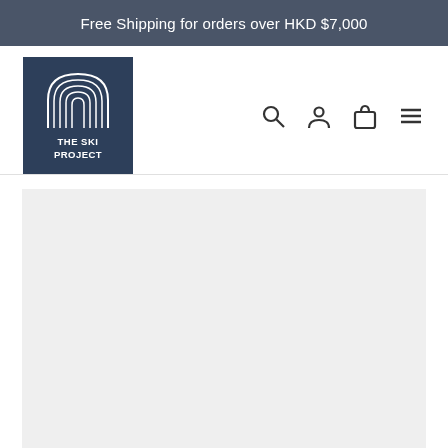Free Shipping for orders over HKD $7,000
[Figure (logo): The Ski Project logo — dark navy square with white outlined arch/mountain mark and text 'THE SKI PROJECT']
[Figure (infographic): Navigation icons: search (magnifying glass), account (person), cart (bag), menu (hamburger)]
[Figure (photo): Large light grey content/image area below the header]